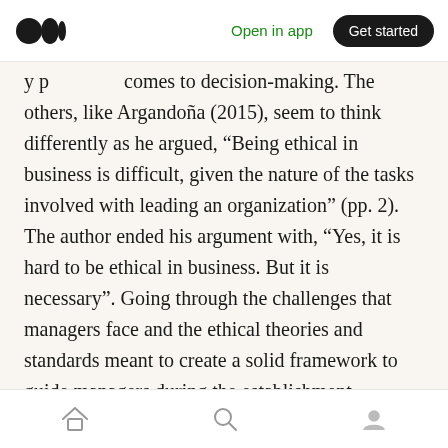Open in app | Get started
y p p comes to decision-making. The others, like Argandoña (2015), seem to think differently as he argued, “Being ethical in business is difficult, given the nature of the tasks involved with leading an organization” (pp. 2). The author ended his argument with, “Yes, it is hard to be ethical in business. But it is necessary”. Going through the challenges that managers face and the ethical theories and standards meant to create a solid framework to guide managers during the establishment, promotion, and maintenance of the business.
Home | Search | Profile